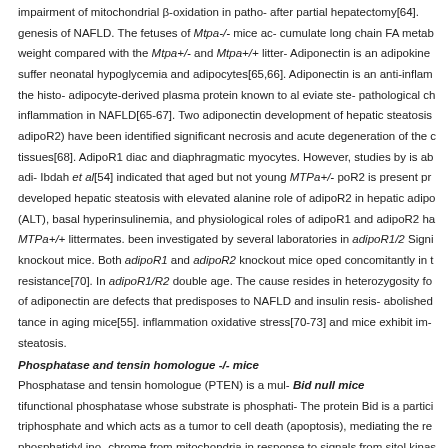impairment of mitochondrial β-oxidation in patho- after partial hepatectomy[64]. genesis of NAFLD. The fetuses of Mtpa-/- mice ac- cumulate long chain FA metab weight compared with the Mtpa+/- and Mtpa+/+ litter- Adiponectin is an adipokine suffer neonatal hypoglycemia and adipocytes[65,66]. Adiponectin is an anti-inflam the histo- adipocyte-derived plasma protein known to al eviate ste- pathological ch inflammation in NAFLD[65-67]. Two adiponectin development of hepatic steatosis adipoR2) have been identified significant necrosis and acute degeneration of the c tissues[68]. AdipoR1 diac and diaphragmatic myocytes. However, studies by is ab adi- Ibdah et al[54] indicated that aged but not young MTPa+/- poR2 is present pr developed hepatic steatosis with elevated alanine role of adipoR2 in hepatic adip (ALT), basal hyperinsulinemia, and physiological roles of adipoR1 and adipoR2 ha MTPa+/+ littermates. been investigated by several laboratories in adipoR1/2 Sign knockout mice. Both adipoR1 and adipoR2 knockout mice oped concomitantly in t resistance[70]. In adipoR1/R2 double age. The cause resides in heterozygosity fo of adiponectin are defects that predisposes to NAFLD and insulin resis- abolished tance in aging mice[55]. inflammation oxidative stress[70-73] and mice exhibit im- steatosis.
Phosphatase and tensin homologue -/- mice
Phosphatase and tensin homologue (PTEN) is a mul- Bid null mice tifunctional phosphatase whose substrate is phosphati- The protein Bid is a partici triphosphate and which acts as a tumor to cell death (apoptosis), mediating the re phosphatidyl ino- chrome from mitochondria in response to signals from sitol kinas